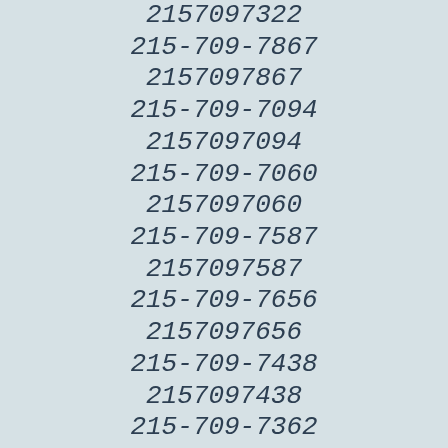2157097322
215-709-7867
2157097867
215-709-7094
2157097094
215-709-7060
2157097060
215-709-7587
2157097587
215-709-7656
2157097656
215-709-7438
2157097438
215-709-7362
2157097362